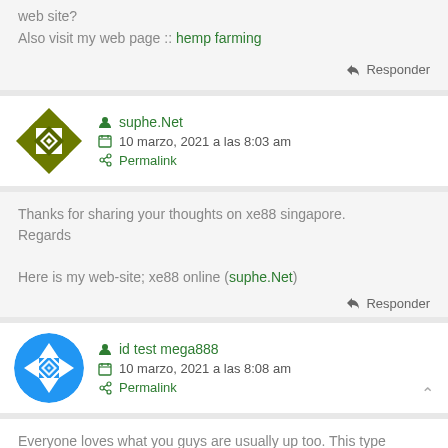web site?
Also visit my web page :: hemp farming
Responder
suphe.Net
10 marzo, 2021 a las 8:03 am
Permalink
Thanks for sharing your thoughts on xe88 singapore.
Regards

Here is my web-site; xe88 online (suphe.Net)
Responder
id test mega888
10 marzo, 2021 a las 8:08 am
Permalink
Everyone loves what you guys are usually up too. This type